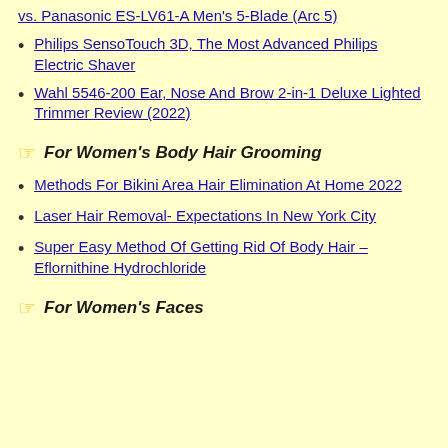vs. Panasonic ES-LV61-A Men's 5-Blade (Arc 5)
Philips SensoTouch 3D, The Most Advanced Philips Electric Shaver
Wahl 5546-200 Ear, Nose And Brow 2-in-1 Deluxe Lighted Trimmer Review (2022)
For Women's Body Hair Grooming
Methods For Bikini Area Hair Elimination At Home 2022
Laser Hair Removal- Expectations In New York City
Super Easy Method Of Getting Rid Of Body Hair – Eflornithine Hydrochloride
For Women's Faces